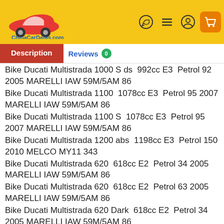ChinaCarDatas.com
Description | Reviews 0
Bike Ducati Multistrada 1000 S ds  992cc E3  Petrol 92 2005 MARELLI IAW 59M/5AM 86
Bike Ducati Multistrada 1100  1078cc E3  Petrol 95 2007 MARELLI IAW 59M/5AM 86
Bike Ducati Multistrada 1100 S  1078cc E3  Petrol 95 2007 MARELLI IAW 59M/5AM 86
Bike Ducati Multistrada 1200 abs  1198cc E3  Petrol 150 2010 MELCO MY11 343
Bike Ducati Multistrada 620  618cc E2  Petrol 34 2005 MARELLI IAW 59M/5AM 86
Bike Ducati Multistrada 620  618cc E2  Petrol 63 2005 MARELLI IAW 59M/5AM 86
Bike Ducati Multistrada 620 Dark  618cc E2  Petrol 34 2005 MARELLI IAW 59M/5AM 86
Bike Ducati Multistrada 620 Dark  618cc E2  Petrol 63 2005 MARELLI IAW 59M/5AM 86
Bike Ducati Paul Smart 1000 LE  992cc E3  Petrol 92 2005